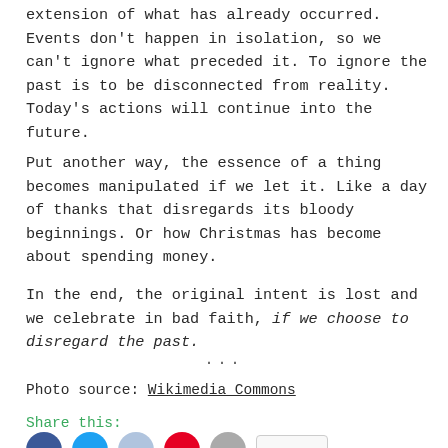extension of what has already occurred. Events don't happen in isolation, so we can't ignore what preceded it. To ignore the past is to be disconnected from reality. Today's actions will continue into the future.
Put another way, the essence of a thing becomes manipulated if we let it. Like a day of thanks that disregards its bloody beginnings. Or how Christmas has become about spending money.
In the end, the original intent is lost and we celebrate in bad faith, if we choose to disregard the past.
...
Photo source: Wikimedia Commons
Share this: